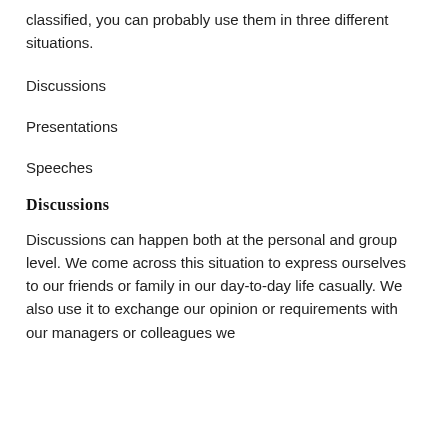classified, you can probably use them in three different situations.
Discussions
Presentations
Speeches
Discussions
Discussions can happen both at the personal and group level. We come across this situation to express ourselves to our friends or family in our day-to-day life casually. We also use it to exchange our opinion or requirements with our managers or colleagues we